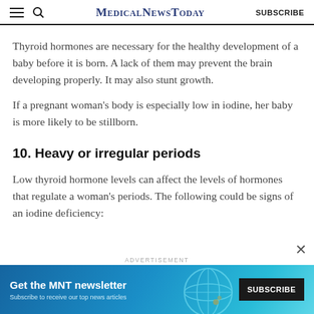MedicalNewsToday  SUBSCRIBE
Thyroid hormones are necessary for the healthy development of a baby before it is born. A lack of them may prevent the brain developing properly. It may also stunt growth.
If a pregnant woman's body is especially low in iodine, her baby is more likely to be stillborn.
10. Heavy or irregular periods
Low thyroid hormone levels can affect the levels of hormones that regulate a woman's periods. The following could be signs of an iodine deficiency:
[Figure (other): Advertisement banner for MNT newsletter subscription with teal gradient background, globe graphic, and Subscribe button]